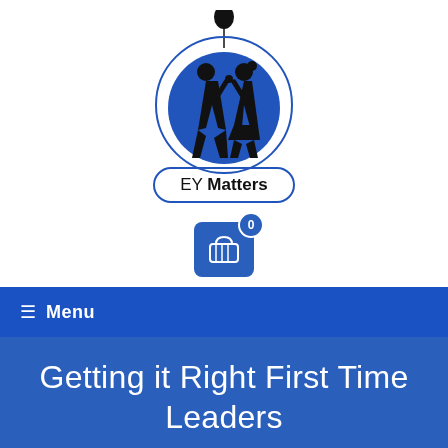[Figure (logo): EY Matters logo: two children silhouettes (a boy and a girl) inside a blue circle with a balloon above, and the text 'EY Matters' in a rounded rectangle banner below. A shopping cart icon with badge '0' is below the logo.]
≡  Menu
Getting it Right First Time Leaders